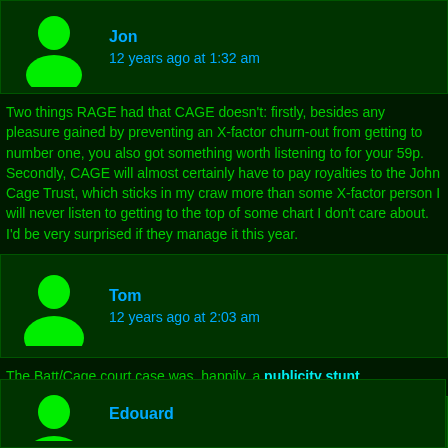[Figure (other): User avatar - green silhouette person icon, partially visible at top]
Jon
12 years ago at 1:32 am
Two things RAGE had that CAGE doesn't: firstly, besides any pleasure gained by preventing an X-factor churn-out from getting to number one, you also got something worth listening to for your 59p. Secondly, CAGE will almost certainly have to pay royalties to the John Cage Trust, which sticks in my craw more than some X-factor person I will never listen to getting to the top of some chart I don't care about. I'd be very surprised if they manage it this year.
[Figure (other): User avatar - green silhouette person icon]
Tom
12 years ago at 2:03 am
The Batt/Cage court case was, happily, a publicity stunt.
[Figure (other): User avatar - jwz circular icon with no photography symbol style, black and white with person silhouette]
jwz
12 years ago at 11:12 am
Oh, good. I suspected that, but I never saw the follow-up.
[Figure (other): User avatar - green silhouette person icon, partially visible at bottom]
Edouard